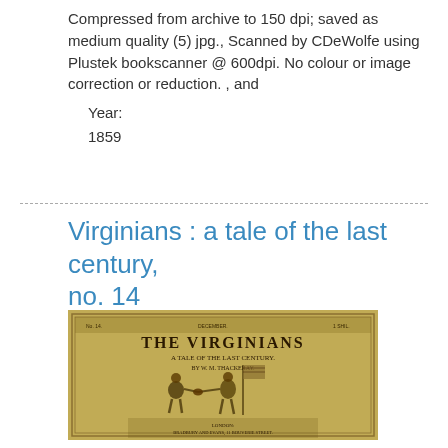Compressed from archive to 150 dpi; saved as medium quality (5) jpg., Scanned by CDeWolfe using Plustek bookscanner @ 600dpi. No colour or image correction or reduction. , and
    Year:
    1859
Virginians : a tale of the last century, no. 14
[Figure (photo): Book cover of 'The Virginians: A Tale of the Last Century' showing two figures shaking hands, one holding a flag, on a yellowish aged cover with ornate text.]